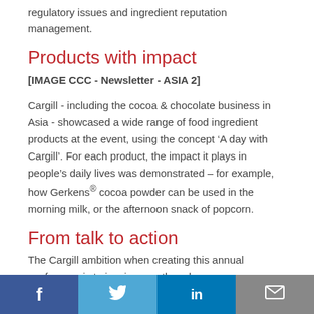regulatory issues and ingredient reputation management.
Products with impact
[IMAGE CCC - Newsletter - ASIA 2]
Cargill - including the cocoa & chocolate business in Asia - showcased a wide range of food ingredient products at the event, using the concept ‘A day with Cargill’. For each product, the impact it plays in people’s daily lives was demonstrated – for example, how Gerkens® cocoa powder can be used in the morning milk, or the afternoon snack of popcorn.
From talk to action
The Cargill ambition when creating this annual conference is to inspire growth and uncover